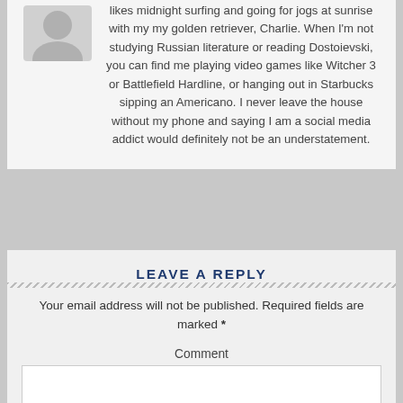likes midnight surfing and going for jogs at sunrise with my my golden retriever, Charlie. When I'm not studying Russian literature or reading Dostoievski, you can find me playing video games like Witcher 3 or Battlefield Hardline, or hanging out in Starbucks sipping an Americano. I never leave the house without my phone and saying I am a social media addict would definitely not be an understatement.
LEAVE A REPLY
Your email address will not be published. Required fields are marked *
Comment